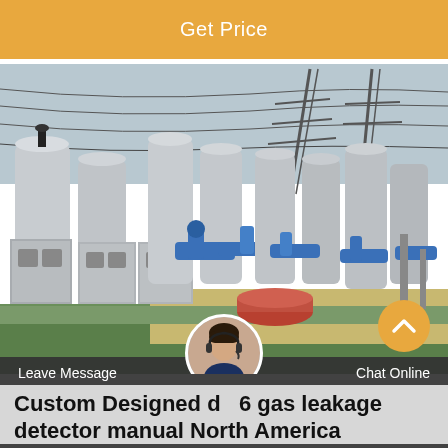Get Price
[Figure (photo): Outdoor electrical substation with large cylindrical gas-insulated switchgear tanks, grey metal cabinets, blue pipe fittings, and overhead power transmission lines with pylons in the background. Grass visible in foreground.]
Leave Message
Chat Online
Custom Designed d 6 gas leakage detector manual North America